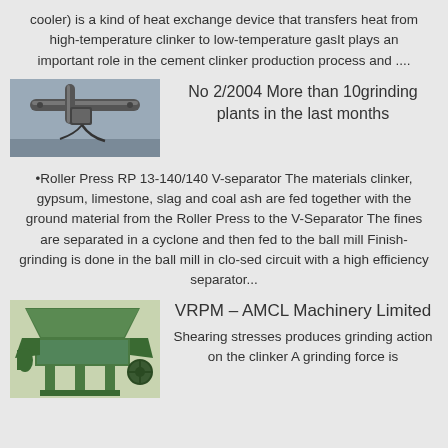cooler) is a kind of heat exchange device that transfers heat from high-temperature clinker to low-temperature gasIt plays an important role in the cement clinker production process and ....
[Figure (photo): Industrial equipment photo showing pipes and mechanical components mounted on a metal surface]
No 2/2004 More than 10grinding plants in the last months
•Roller Press RP 13-140/140 V-separator The materials clinker, gypsum, limestone, slag and coal ash are fed together with the ground material from the Roller Press to the V-Separator The fines are separated in a cyclone and then fed to the ball mill Finish-grinding is done in the ball mill in clo-sed circuit with a high efficiency separator...
[Figure (photo): Green industrial grinding machine (roller press / VRPM equipment) on a metal frame]
VRPM – AMCL Machinery Limited
Shearing stresses produces grinding action on the clinker A grinding force is